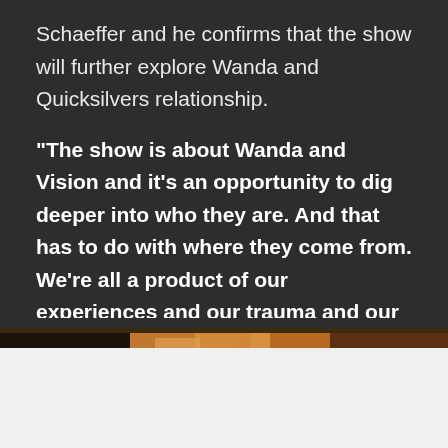Schaeffer and he confirms that the show will further explore Wanda and Quicksilvers relationship.
“The show is about Wanda and Vision and it’s an opportunity to dig deeper into who they are. And that has to do with where they come from. We’re all a product of our experiences and our trauma and our relationships. And so we will be exploring all of those details of their pasts as we move forward.”
[Figure (photo): Partial image visible at the bottom of the dark section, showing warm orange/amber tones suggesting a scene or character from the show.]